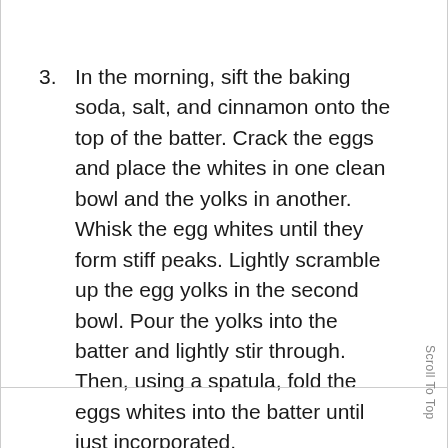3. In the morning, sift the baking soda, salt, and cinnamon onto the top of the batter. Crack the eggs and place the whites in one clean bowl and the yolks in another. Whisk the egg whites until they form stiff peaks. Lightly scramble up the egg yolks in the second bowl. Pour the yolks into the batter and lightly stir through. Then, using a spatula, fold the eggs whites into the batter until just incorporated.
Scroll To Top